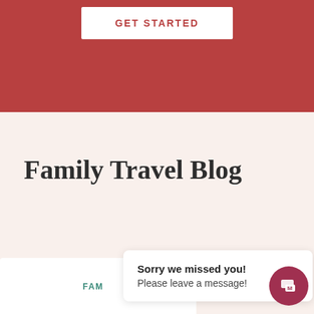[Figure (screenshot): Red banner with GET STARTED button (white rectangle with red uppercase text)]
Family Travel Blog
FAM
Sorry we missed you! Please leave a message!